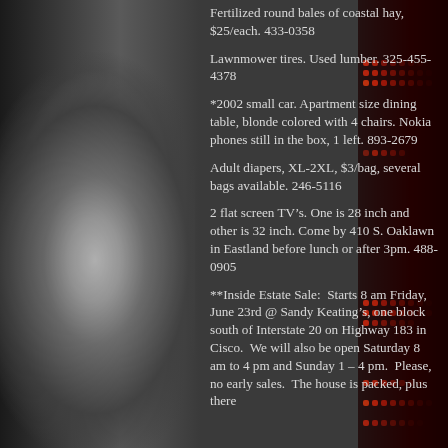Fertilized round bales of coastal hay, $25/each. 433-0358
Lawnmower tires. Used lumber. 325-455-4378
*2002 small car. Apartment size dining table, blonde colored with 4 chairs. Nokia phones still in the box, 1 left. 893-2679
Adult diapers, XL-2XL, $3/bag, several bags available. 246-5116
2 flat screen TV’s. One is 28 inch and other is 32 inch. Come by 410 S. Oaklawn in Eastland before lunch or after 3pm. 488-0905
**Inside Estate Sale:  Starts 8 am Friday, June 23rd @ Sandy Keating’s, one block south of Interstate 20 on Highway 183 in Cisco.  We will also be open Saturday 8 am to 4 pm and Sunday 1 – 4 pm.  Please, no early sales.  The house is packed, plus there